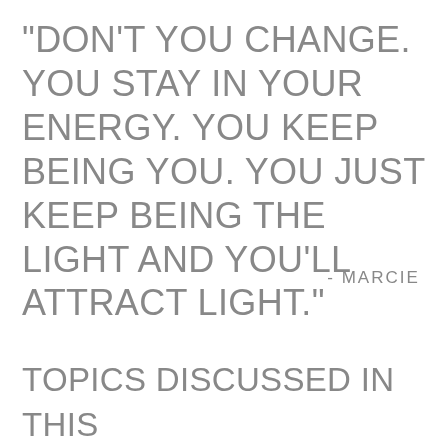"DON'T YOU CHANGE. YOU STAY IN YOUR ENERGY. YOU KEEP BEING YOU. YOU JUST KEEP BEING THE LIGHT AND YOU'LL ATTRACT LIGHT."
- MARCIE
TOPICS DISCUSSED IN THIS EPISODE: